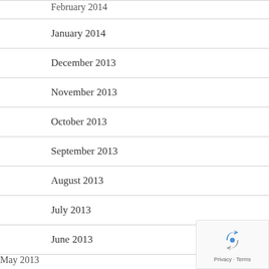February 2014
January 2014
December 2013
November 2013
October 2013
September 2013
August 2013
July 2013
June 2013